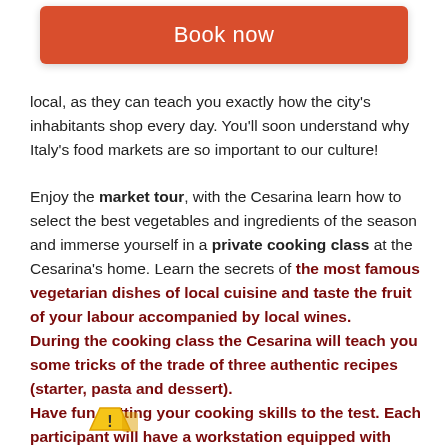Book now
local, as they can teach you exactly how the city's inhabitants shop every day. You'll soon understand why Italy's food markets are so important to our culture!
Enjoy the market tour, with the Cesarina learn how to select the best vegetables and ingredients of the season and immerse yourself in a private cooking class at the Cesarina's home. Learn the secrets of the most famous vegetarian dishes of local cuisine and taste the fruit of your labour accompanied by local wines. During the cooking class the Cesarina will teach you some tricks of the trade of three authentic recipes (starter, pasta and dessert). Have fun putting your cooking skills to the test. Each participant will have a workstation equipped with utensils and all the ingredients to make the dishes.
[Figure (illustration): Warning icon at bottom of page]